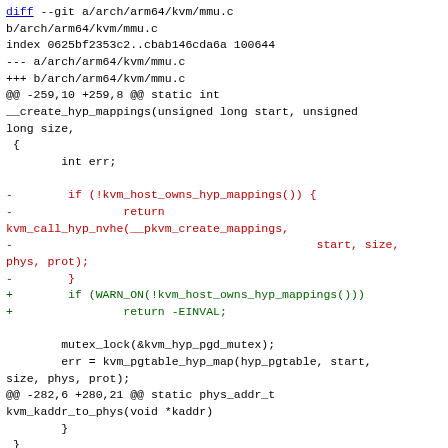diff --git a/arch/arm64/kvm/mmu.c b/arch/arm64/kvm/mmu.c
index 0625bf2353c2..cbab146cda6a 100644
--- a/arch/arm64/kvm/mmu.c
+++ b/arch/arm64/kvm/mmu.c
@@ -259,10 +259,8 @@ static int __create_hyp_mappings(unsigned long start, unsigned long size,
 {
         int err;

-        if (!kvm_host_owns_hyp_mappings()) {
-                return kvm_call_hyp_nvhe(__pkvm_create_mappings,
-                                                            start, size, phys, prot);
-        }
+        if (WARN_ON(!kvm_host_owns_hyp_mappings()))
+                return -EINVAL;

         mutex_lock(&kvm_hyp_pgd_mutex);
         err = kvm_pgtable_hyp_map(hyp_pgtable, start, size, phys, prot);
@@ -282,6 +280,21 @@ static phys_addr_t kvm_kaddr_to_phys(void *kaddr)
         }
  }

+static int pkvm_share_hyp(phys_addr_t start, phys_addr_t end)